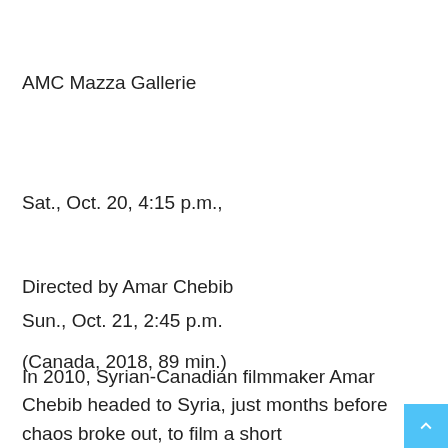AMC Mazza Gallerie
Sat., Oct. 20, 4:15 p.m.,
Sun., Oct. 21, 2:45 p.m.
Wajd: Songs of Separation
Directed by Amar Chebib
(Canada, 2018, 89 min.)
In 2010, Syrian-Canadian filmmaker Amar Chebib headed to Syria, just months before chaos broke out, to film a short